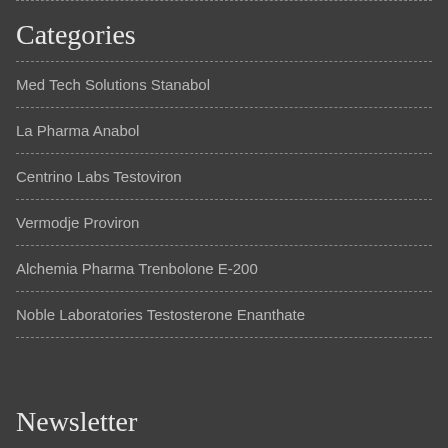Categories
Med Tech Solutions Stanabol
La Pharma Anabol
Centrino Labs Testoviron
Vermodje Proviron
Alchemia Pharma Trenbolone E-200
Noble Laboratories Testosterone Enanthate
Newsletter